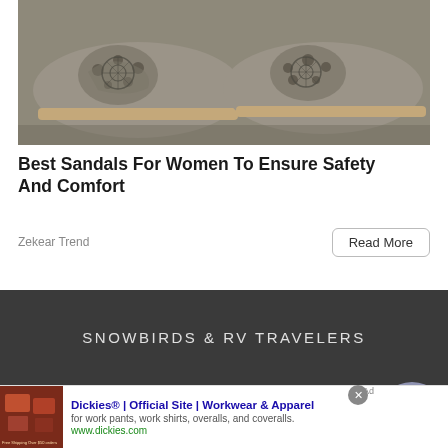[Figure (photo): Close-up photo of grey laser-cut women's sandal shoes on a stone surface]
Best Sandals For Women To Ensure Safety And Comfort
Zekear Trend
Read More
SNOWBIRDS & RV TRAVELERS
Dickies® | Official Site | Workwear & Apparel
for work pants, work shirts, overalls, and coveralls.
www.dickies.com